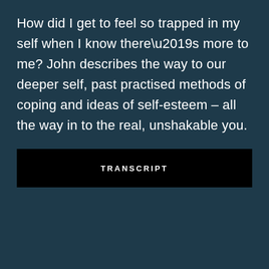How did I get to feel so trapped in my self when I know there’s more to me? John describes the way to our deeper self, past practised methods of coping and ideas of self-esteem – all the way in to the real, unshakable you.
TRANSCRIPT